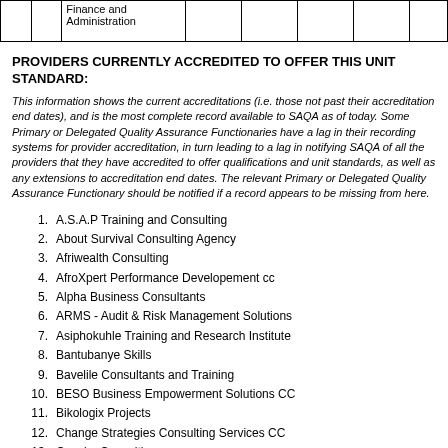|  |  | Finance and Administration |  |  |  |  |  |
| --- | --- | --- | --- | --- | --- | --- | --- |
|  |  |  |  |  |  |  |  |
PROVIDERS CURRENTLY ACCREDITED TO OFFER THIS UNIT STANDARD:
This information shows the current accreditations (i.e. those not past their accreditation end dates), and is the most complete record available to SAQA as of today. Some Primary or Delegated Quality Assurance Functionaries have a lag in their recording systems for provider accreditation, in turn leading to a lag in notifying SAQA of all the providers that they have accredited to offer qualifications and unit standards, as well as any extensions to accreditation end dates. The relevant Primary or Delegated Quality Assurance Functionary should be notified if a record appears to be missing from here.
A.S.A.P Training and Consulting
About Survival Consulting Agency
Afriwealth Consulting
AfroXpert Performance Developement cc
Alpha Business Consultants
ARMS - Audit & Risk Management Solutions
Asiphokuhle Training and Research Institute
Bantubanye Skills
Bavelile Consultants and Training
BESO Business Empowerment Solutions CC
Bikologix Projects
Change Strategies Consulting Services CC
Coceka Consulting
Commitech Consulting